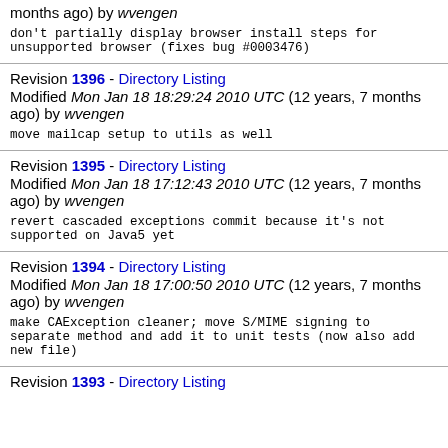months ago) by wvengen
don't partially display browser install steps for unsupported browser (fixes bug #0003476)
Revision 1396 - Directory Listing
Modified Mon Jan 18 18:29:24 2010 UTC (12 years, 7 months ago) by wvengen
move mailcap setup to utils as well
Revision 1395 - Directory Listing
Modified Mon Jan 18 17:12:43 2010 UTC (12 years, 7 months ago) by wvengen
revert cascaded exceptions commit because it's not supported on Java5 yet
Revision 1394 - Directory Listing
Modified Mon Jan 18 17:00:50 2010 UTC (12 years, 7 months ago) by wvengen
make CAException cleaner; move S/MIME signing to separate method and add it to unit tests (now also add new file)
Revision 1393 - Directory Listing